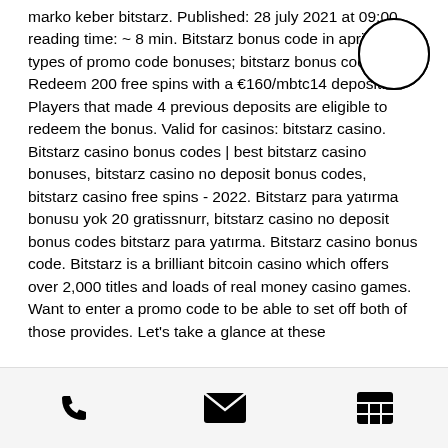marko keber bitstarz. Published: 28 july 2021 at 09:00 reading time: ~ 8 min. Bitstarz bonus code in april 2022: types of promo code bonuses; bitstarz bonus code. Redeem 200 free spins with a €160/mbtc14 deposit. Players that made 4 previous deposits are eligible to redeem the bonus. Valid for casinos: bitstarz casino. Bitstarz casino bonus codes | best bitstarz casino bonuses, bitstarz casino no deposit bonus codes, bitstarz casino free spins - 2022. Bitstarz para yatırma bonusu yok 20 gratissnurr, bitstarz casino no deposit bonus codes bitstarz para yatırma. Bitstarz casino bonus code. Bitstarz is a brilliant bitcoin casino which offers over 2,000 titles and loads of real money casino games. Want to enter a promo code to be able to set off both of those provides. Let's take a glance at these
[Figure (other): Hamburger menu icon — three horizontal lines inside a circle]
Phone icon | Email icon | Table/grid icon